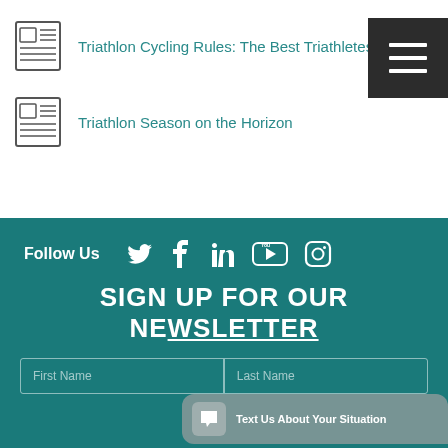Triathlon Cycling Rules: The Best Triathletes Kno…
Triathlon Season on the Horizon
[Figure (screenshot): Navigation menu hamburger button (dark background with three white horizontal lines)]
Follow Us
[Figure (infographic): Social media icons: Twitter, Facebook, LinkedIn, YouTube, Instagram]
SIGN UP FOR OUR NEWSLETTER
[Figure (infographic): Chat bubble widget: Text Us About Your Situation]
First Name
Last Name